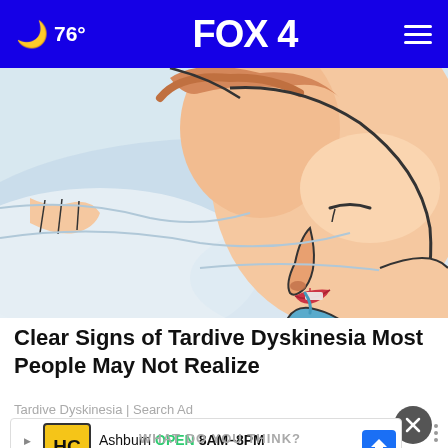🌙 76° FOX 4
[Figure (illustration): Comic/illustrated style image of a person lying on their side asleep with drool (blue liquid) coming from their mouth onto a pillow]
Clear Signs of Tardive Dyskinesia Most People May Not Realize
Tardive Dyskinesia | Search Ad
[Figure (other): Advertisement banner for Ashburn HC store: OPEN 8AM-8PM, 44110 Ashburn Shopping Pla...]